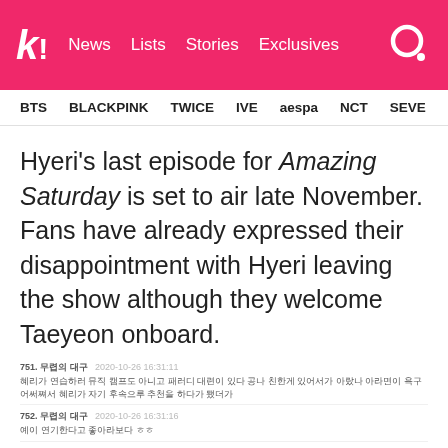k! News  Lists  Stories  Exclusives
BTS  BLACKPINK  TWICE  IVE  aespa  NCT  SEVE
Hyeri's last episode for Amazing Saturday is set to air late November. Fans have already expressed their disappointment with Hyeri leaving the show although they welcome Taeyeon onboard.
751. 무렵의 대구  2020-10-26 16:31:11
혜리가 연습하러 뮤직 캠프도 아니고 패러디 대련이 있다 공나 친한게 있어서가 아랐나 아라면이 욕구 어써쪄서 혜리가 자기 후속으루 추천을 하다가 됐더가
752. 무렵의 대구  2020-10-26 16:31:16
예이 연기한다고 좋아라보다 ㅎㅎ
753. 무렵의 대구  2020-10-26 16:31:22
좋은데171
754. 부렁의 다우  2020-10-26 16:31:31
예리나가는군 너무 아쉽지만 ㅠㅠㅠ 대연도 좋아 ㅎㅎ
다도 다시 즐겨봐서 보나 흥음과 슬들다 공준한다. 각
755. 무렵의 다우  2020-10-26 16:31:36
ㅠㅠㅠ
756. 무렵의 다우 + 02일  2020-10-26 16:31:02
아어 경험만나 나이랑 그 다이흥흥용에 나일이이 하하하는데 좋 축들효흠♡♡♡♡♡♡♡♡ 연구용 열대도 정역하다뉴~